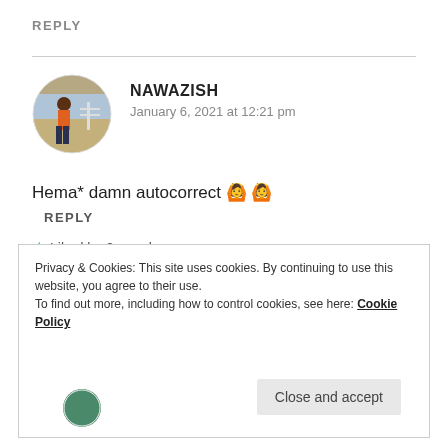REPLY
NAWAZISH
January 6, 2021 at 12:21 pm
Hema* damn autocorrect 🙆 🙆
★ Liked by 2 people
REPLY
Privacy & Cookies: This site uses cookies. By continuing to use this website, you agree to their use.
To find out more, including how to control cookies, see here: Cookie Policy
Close and accept